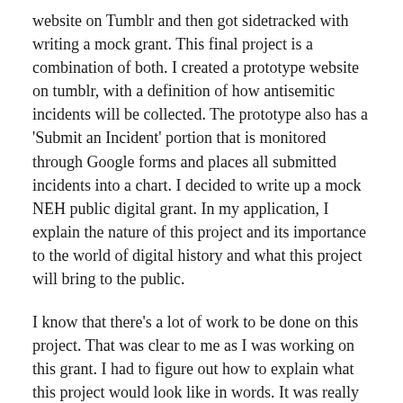website on Tumblr and then got sidetracked with writing a mock grant. This final project is a combination of both. I created a prototype website on tumblr, with a definition of how antisemitic incidents will be collected. The prototype also has a 'Submit an Incident' portion that is monitored through Google forms and places all submitted incidents into a chart. I decided to write up a mock NEH public digital grant. In my application, I explain the nature of this project and its importance to the world of digital history and what this project will bring to the public.
I know that there's a lot of work to be done on this project. That was clear to me as I was working on this grant. I had to figure out how to explain what this project would look like in words. It was really hard (even hypothetically) to ask for money for something that doesn't exist.